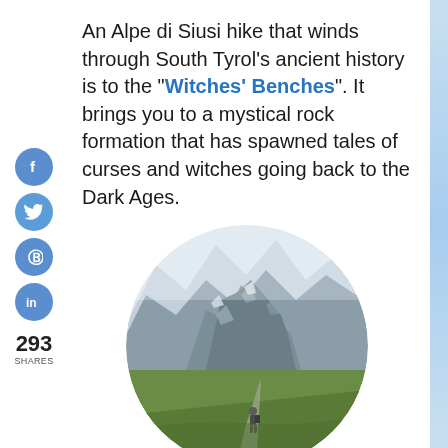An Alpe di Siusi hike that winds through South Tyrol's ancient history is to the "Witches' Benches". It brings you to a mystical rock formation that has spawned tales of curses and witches going back to the Dark Ages.
[Figure (photo): Circular photo of a hiker walking on a gravel path toward dramatic rocky mountain peaks, with green alpine meadows in the foreground and misty grey-white mountains in the background.]